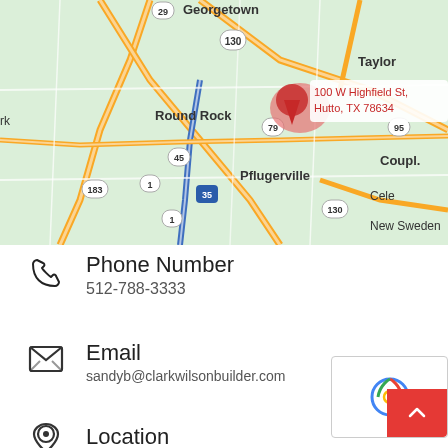[Figure (map): Google Maps screenshot showing area around Hutto, TX 78634 with pin at 100 W Highfield St, Hutto TX 78634. Surrounding cities visible include Georgetown, Round Rock, Pflugerville, Taylor, Cele, New Sweden, Couple. Roads include highways 130, 79, 45, 35, 95, 183, 1.]
Phone Number
512-788-3333
Email
sandyb@clarkwilsonbuilder.com
Location